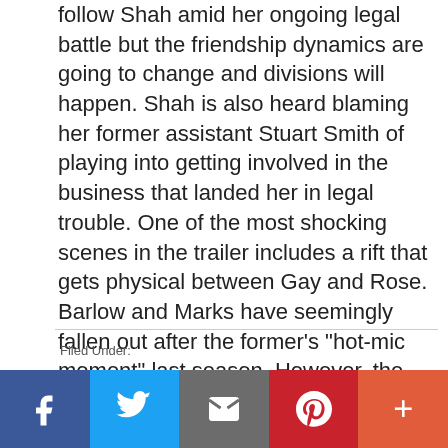follow Shah amid her ongoing legal battle but the friendship dynamics are going to change and divisions will happen. Shah is also heard blaming her former assistant Stuart Smith of playing into getting involved in the business that landed her in legal trouble. One of the most shocking scenes in the trailer includes a rift that gets physical between Gay and Rose. Barlow and Marks have seemingly fallen out after the former’s “hot-mic moment” last season. However, the moment that most fans are … [Read more...]
[Figure (infographic): Social sharing bar with Facebook, Twitter, Email, Pinterest, and More buttons]